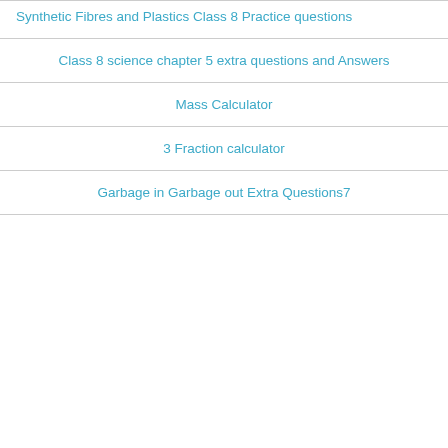Synthetic Fibres and Plastics Class 8 Practice questions
Class 8 science chapter 5 extra questions and Answers
Mass Calculator
3 Fraction calculator
Garbage in Garbage out Extra Questions7